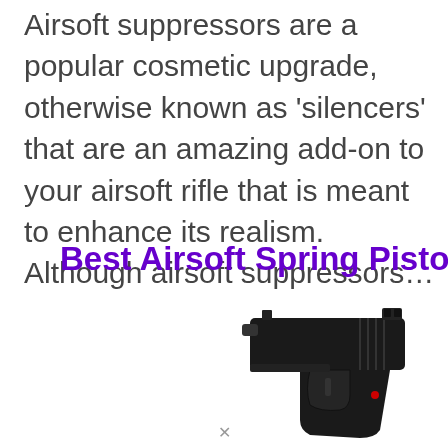Airsoft suppressors are a popular cosmetic upgrade, otherwise known as ‘silencers’ that are an amazing add-on to your airsoft rifle that is meant to enhance its realism. Although airsoft suppressors...
Best Airsoft Spring Pisto
[Figure (photo): Photo of a black airsoft spring pistol showing the top/rear portion of the slide and sights against a white background]